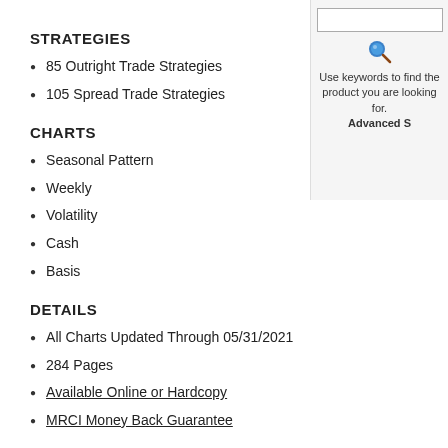STRATEGIES
85 Outright Trade Strategies
105 Spread Trade Strategies
CHARTS
Seasonal Pattern
Weekly
Volatility
Cash
Basis
DETAILS
All Charts Updated Through 05/31/2021
284 Pages
Available Online or Hardcopy
MRCI Money Back Guarantee
Customers Also Purchased